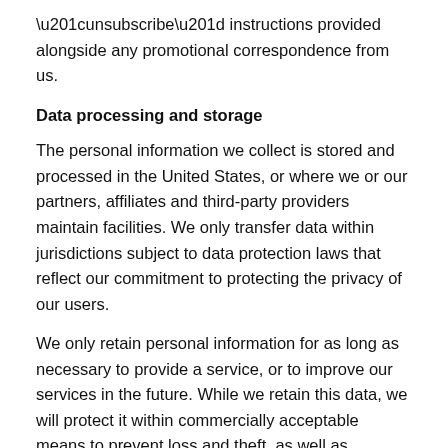“unsubscribe” instructions provided alongside any promotional correspondence from us.
Data processing and storage
The personal information we collect is stored and processed in the United States, or where we or our partners, affiliates and third-party providers maintain facilities. We only transfer data within jurisdictions subject to data protection laws that reflect our commitment to protecting the privacy of our users.
We only retain personal information for as long as necessary to provide a service, or to improve our services in the future. While we retain this data, we will protect it within commercially acceptable means to prevent loss and theft, as well as unauthorized access, disclosure, copying, use or modification. That said, we advise that no method of electronic transmission or storage is 100% secure, and cannot guarantee absolute data security.
If you request your personal information be deleted, or where your personal information becomes no longer relevant to our